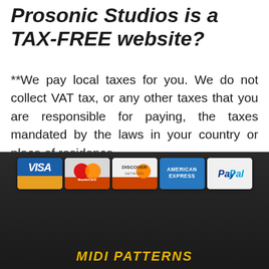Prosonic Studios is a TAX-FREE website?
**We pay local taxes for you. We do not collect VAT tax, or any other taxes that you are responsible for paying, the taxes mandated by the laws in your country or place of residence.
[Figure (illustration): Payment method logos: Visa, MasterCard, Discover Network, American Express, PayPal cards displayed in a row on a dark background footer]
MIDI PATTERNS